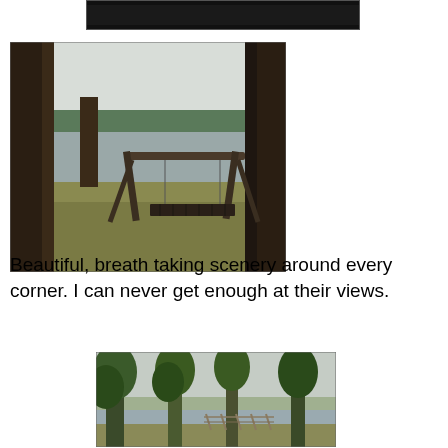[Figure (photo): Partial/cropped dark photo strip at top of page, showing a dark nearly black image]
[Figure (photo): Outdoor photo of a wooden swing set with bench swing near a lake, surrounded by tall pine trees, with a grassy lawn and calm water with trees in the background on an overcast day]
Beautiful, breath taking scenery around every corner.  I can never get enough at their views.
[Figure (photo): Outdoor photo of large trees near a lake or bay with a wooden dock/fence structure visible in the background on an overcast day]